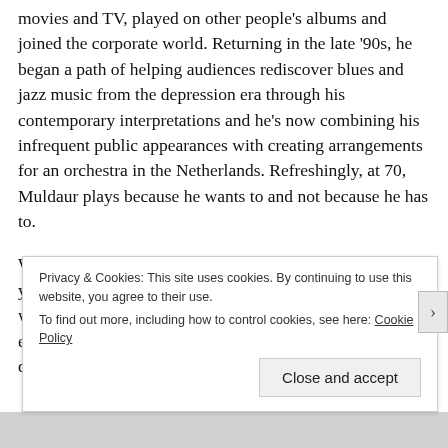movies and TV, played on other people's albums and joined the corporate world. Returning in the late '90s, he began a path of helping audiences rediscover blues and jazz music from the depression era through his contemporary interpretations and he's now combining his infrequent public appearances with creating arrangements for an orchestra in the Netherlands. Refreshingly, at 70, Muldaur plays because he wants to and not because he has to.
Which brings us to his Blue Door show. Through the years, Muldaur's trips to Oklahoma City have been fraught with weather issues. In 1999, he was scheduled on the evening the tornado struck Moore. In 2008, he had to delay his Blue Door
Privacy & Cookies: This site uses cookies. By continuing to use this website, you agree to their use.
To find out more, including how to control cookies, see here: Cookie Policy